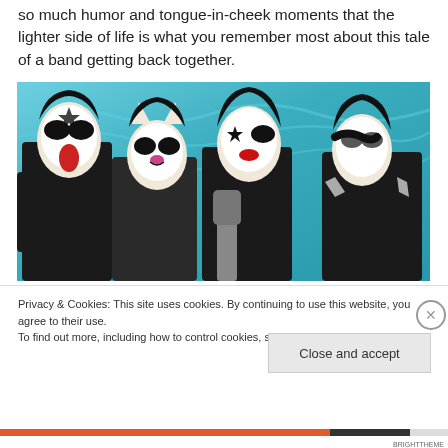so much humor and tongue-in-cheek moments that the lighter side of life is what you remember most about this tale of a band getting back together.
[Figure (photo): Photo of the band KISS posing in front of a blue water background, all four members in full stage makeup and costumes. From left to right: Gene Simmons (Demon face paint, tongue out), Peter Criss or Eric Carr (Cat face paint), Paul Stanley (Star face paint, holding guitar), and Ace Frehley or Tommy Thayer (Space Ace face paint).]
Privacy & Cookies: This site uses cookies. By continuing to use this website, you agree to their use.
To find out more, including how to control cookies, see here: Cookie Policy
Close and accept